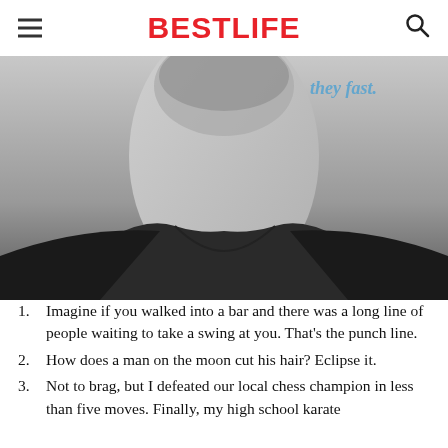BestLife
[Figure (photo): Black and white close-up photo of a bearded man's chin and neck area, wearing a dark scoop-neck t-shirt. Partial italic blue text visible in upper right corner reading 'they fast'.]
Imagine if you walked into a bar and there was a long line of people waiting to take a swing at you. That's the punch line.
How does a man on the moon cut his hair? Eclipse it.
Not to brag, but I defeated our local chess champion in less than five moves. Finally, my high school karate